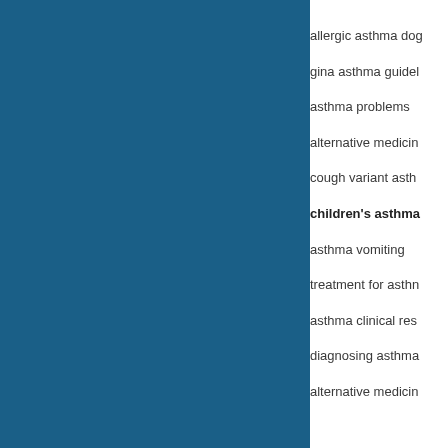[Figure (other): Dark blue rectangular panel occupying the left portion of the page]
allergic asthma dog
gina asthma guidel
asthma problems
alternative medicin
cough variant asth
children's asthma
asthma vomiting
treatment for asthn
asthma clinical res
diagnosing asthma
alternative medicin